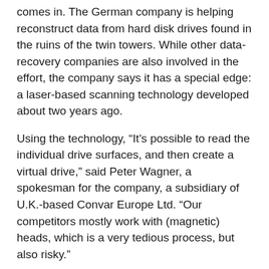comes in. The German company is helping reconstruct data from hard disk drives found in the ruins of the twin towers. While other data-recovery companies are also involved in the effort, the company says it has a special edge: a laser-based scanning technology developed about two years ago.
Using the technology, “It’s possible to read the individual drive surfaces, and then create a virtual drive,” said Peter Wagner, a spokesman for the company, a subsidiary of U.K.-based Convar Europe Ltd. “Our competitors mostly work with (magnetic) heads, which is a very tedious process, but also risky.”
Because of the fine dust created by the explosions that destroyed the towers, which was driven at high pressure into devices, physically touching the drive surfaces can damage them, he said.